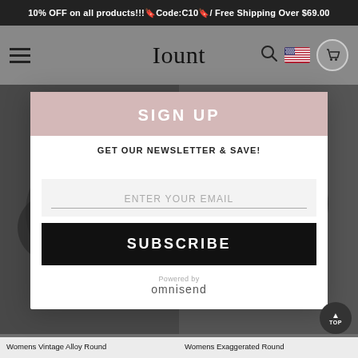10% OFF on all products!!!🔖Code:C10🔖/ Free Shipping Over $69.00
[Figure (screenshot): Website navigation bar with hamburger menu, 'Iount' logo, search icon, US flag, and cart icon]
SIGN UP
GET OUR NEWSLETTER & SAVE!
ENTER YOUR EMAIL
SUBSCRIBE
Powered by omnisend
[Figure (photo): Background product images - Womens Vintage Alloy Round and Womens Exaggerated Round jewelry items on dark background]
Womens Vintage Alloy Round
Womens Exaggerated Round